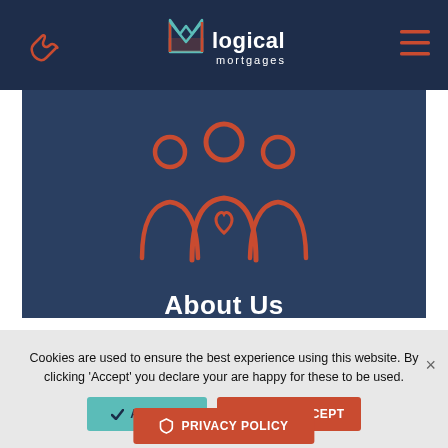[Figure (logo): Logical Mortgages logo with phone icon and hamburger menu on dark navy navigation bar]
[Figure (illustration): Three outlined figures/people icon in orange/red on dark blue background representing 'About Us']
About Us
Cookies are used to ensure the best experience using this website. By clicking 'Accept' you declare your are happy for these to be used.
Accept
Don't Accept
Privacy policy